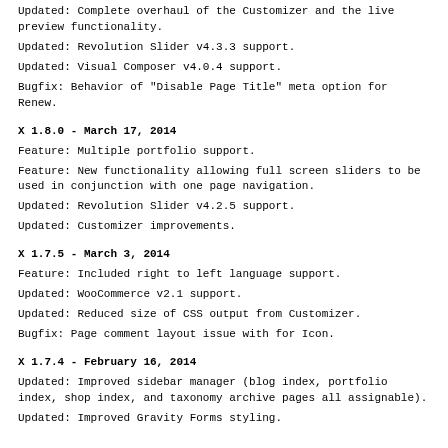Updated: Complete overhaul of the Customizer and the live preview functionality.
Updated: Revolution Slider v4.3.3 support.
Updated: Visual Composer v4.0.4 support.
Bugfix: Behavior of "Disable Page Title" meta option for Renew.
X 1.8.0 - March 17, 2014
Feature: Multiple portfolio support.
Feature: New functionality allowing full screen sliders to be used in conjunction with one page navigation.
Updated: Revolution Slider v4.2.5 support.
Updated: Customizer improvements.
X 1.7.5 - March 3, 2014
Feature: Included right to left language support.
Updated: WooCommerce v2.1 support.
Updated: Reduced size of CSS output from Customizer.
Bugfix: Page comment layout issue with for Icon.
X 1.7.4 - February 16, 2014
Updated: Improved sidebar manager (blog index, portfolio index, shop index, and taxonomy archive pages all assignable).
Updated: Improved Gravity Forms styling.